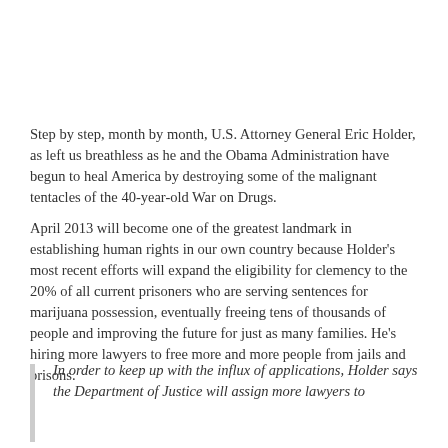Step by step, month by month, U.S. Attorney General Eric Holder, as left us breathless as he and the Obama Administration have begun to heal America by destroying some of the malignant tentacles of the 40-year-old War on Drugs.
April 2013 will become one of the greatest landmark in establishing human rights in our own country because Holder's most recent efforts will expand the eligibility for clemency to the 20% of all current prisoners who are serving sentences for marijuana possession, eventually freeing tens of thousands of people and improving the future for just as many families. He's hiring more lawyers to free more and more people from jails and prisons.
In order to keep up with the influx of applications, Holder says the Department of Justice will assign more lawyers to